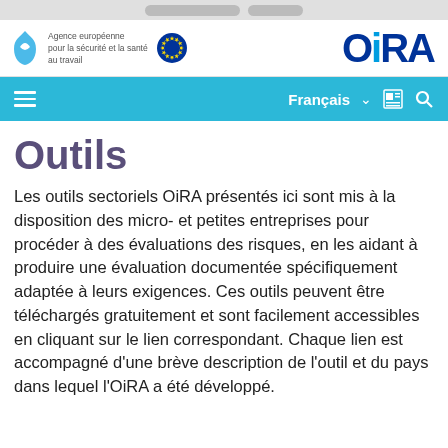[Figure (logo): EU Agency logo: Agence européenne pour la sécurité et la santé au travail with EU stars flag and OiRA logo]
Français ∨
Outils
Les outils sectoriels OiRA présentés ici sont mis à la disposition des micro- et petites entreprises pour procéder à des évaluations des risques, en les aidant à produire une évaluation documentée spécifiquement adaptée à leurs exigences. Ces outils peuvent être téléchargés gratuitement et sont facilement accessibles en cliquant sur le lien correspondant. Chaque lien est accompagné d'une brève description de l'outil et du pays dans lequel l'OiRA a été développé.